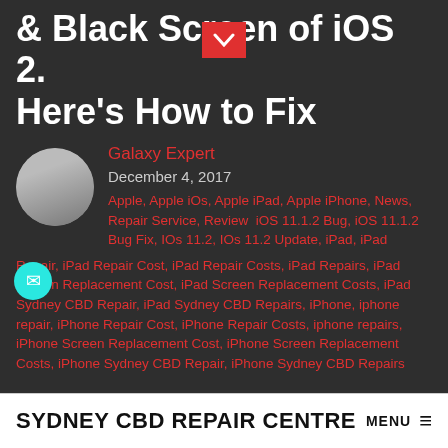& Black Screen of iOS 2. Here's How to Fix
Galaxy Expert
December 4, 2017
Apple, Apple iOs, Apple iPad, Apple iPhone, News, Repair Service, Review  iOS 11.1.2 Bug, iOS 11.1.2 Bug Fix, IOs 11.2, IOs 11.2 Update, iPad, iPad Repair, iPad Repair Cost, iPad Repair Costs, iPad Repairs, iPad Screen Replacement Cost, iPad Screen Replacement Costs, iPad Sydney CBD Repair, iPad Sydney CBD Repairs, iPhone, iphone repair, iPhone Repair Cost, iPhone Repair Costs, iphone repairs, iPhone Screen Replacement Cost, iPhone Screen Replacement Costs, iPhone Sydney CBD Repair, iPhone Sydney CBD Repairs
[Figure (photo): Image placeholder for: Crashing iPhone to black screen spinning logo]
Another day, another embarrassing bug.
SYDNEY CBD REPAIR CENTRE  MENU ≡